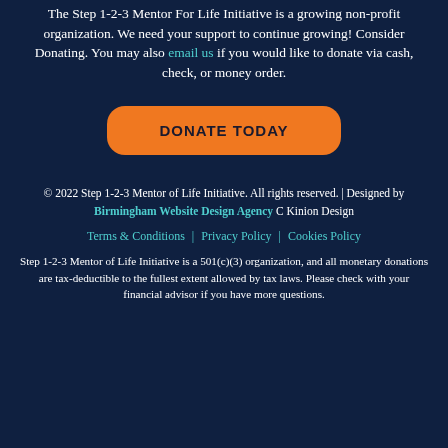The Step 1-2-3 Mentor For Life Initiative is a growing non-profit organization. We need your support to continue growing! Consider Donating. You may also email us if you would like to donate via cash, check, or money order.
DONATE TODAY
© 2022 Step 1-2-3 Mentor of Life Initiative. All rights reserved. | Designed by Birmingham Website Design Agency C Kinion Design
Terms & Conditions  |  Privacy Policy  |  Cookies Policy
Step 1-2-3 Mentor of Life Initiative is a 501(c)(3) organization, and all monetary donations are tax-deductible to the fullest extent allowed by tax laws. Please check with your financial advisor if you have more questions.